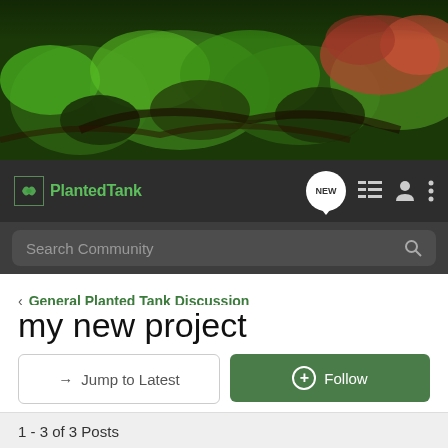[Figure (photo): Aquarium planted tank hero image with lush green aquatic plants, driftwood, and red/orange plants in the upper right corner]
Planted Tank | NEW | navigation icons
Search Community
< General Planted Tank Discussion
my new project
→ Jump to Latest
+ Follow
1 - 3 of 3 Posts
lurchone · Registered
Joined Mar 2, 2014 · 12 Posts